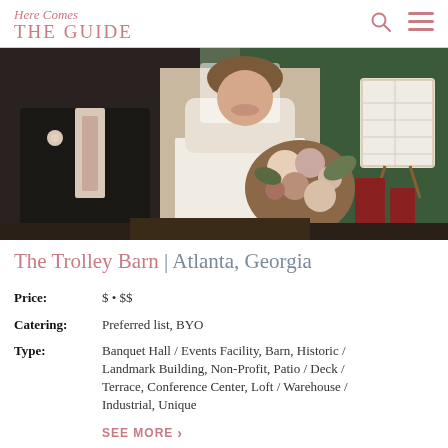Here Comes THE GUIDE
[Figure (photo): Bride and groom walking together outdoors near a barn with green siding; bride holds a large floral bouquet]
The Trolley Barn | Atlanta, Georgia
Price: $ • $$
Catering: Preferred list, BYO
Type: Banquet Hall / Events Facility, Barn, Historic / Landmark Building, Non-Profit, Patio / Deck / Terrace, Conference Center, Loft / Warehouse / Industrial, Unique
SEE MORE >